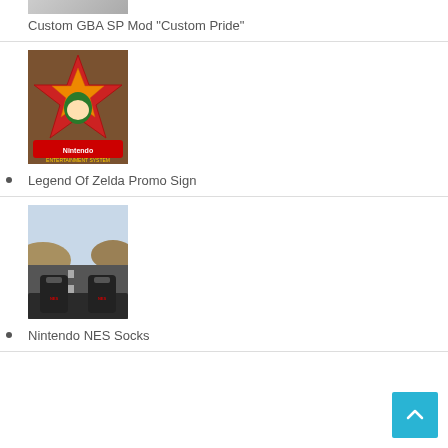Custom GBA SP Mod "Custom Pride"
[Figure (photo): Custom GBA SP Mod photo (partially visible at top)]
Legend Of Zelda Promo Sign
[Figure (photo): Legend of Zelda Nintendo Entertainment System promo sign with red star shape and character]
Nintendo NES Socks
[Figure (photo): Nintendo NES socks on car dashboard with road and hills in background]